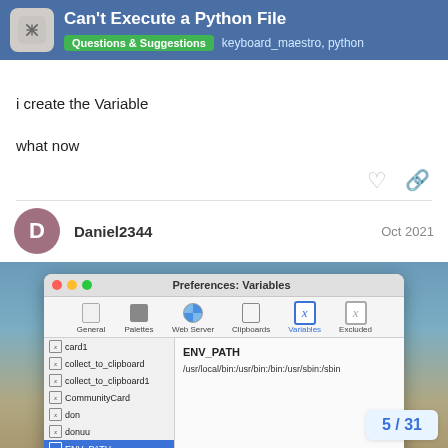Can't Execute a Python File | Questions & Suggestions | keyboard_maestro, python
i create the Variable
what now
Daniel2344  Oct 2021
[Figure (screenshot): macOS Keyboard Maestro Preferences: Variables window showing a list of variables including ENV_PATH selected, with value /usr/local/bin:/usr/bin:/bin:/usr/sbin:/sbin displayed in the right panel.]